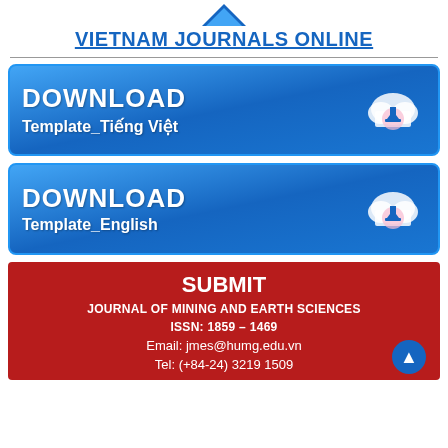[Figure (logo): Blue triangle/arrow logo for Vietnam Journals Online]
VIETNAM JOURNALS ONLINE
[Figure (infographic): Blue download button with cloud icon and text: DOWNLOAD Template_Tiếng Việt]
[Figure (infographic): Blue download button with cloud icon and text: DOWNLOAD Template_English]
SUBMIT
JOURNAL OF MINING AND EARTH SCIENCES
ISSN: 1859 – 1469
Email: jmes@humg.edu.vn
Tel: (+84-24) 3219 1509